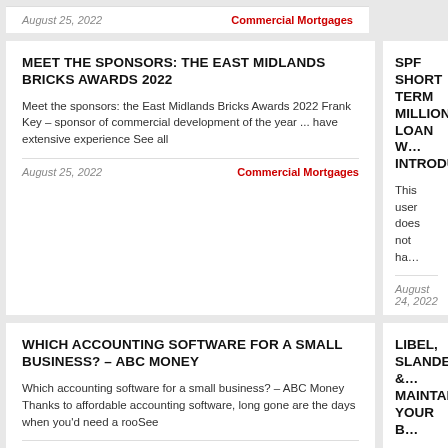August 25, 2022
Commercial Mortgages
MEET THE SPONSORS: THE EAST MIDLANDS BRICKS AWARDS 2022
Meet the sponsors: the East Midlands Bricks Awards 2022 Frank Key – sponsor of commercial development of the year ... have extensive experience See all
August 25, 2022
Commercial Mortgages
SPF SHORT TERM... MILLION LOAN W... INTRODUCER
This user does not ha...
August 24, 2022
WHICH ACCOUNTING SOFTWARE FOR A SMALL BUSINESS? – ABC MONEY
Which accounting software for a small business? – ABC Money Thanks to affordable accounting software, long gone are the days when you'd need a rooSee
August 24, 2022
Commercial Mortgages
LIBEL, SLANDER &... MAINTAIN YOUR B...
Libel, Slander & Def... Business's Good Rep... your business from d... financiaSee
August 24, 2022
COST OF LIVING IMPACTS HOMEOWNER CLIMATE
ONE STOP BUSINE...